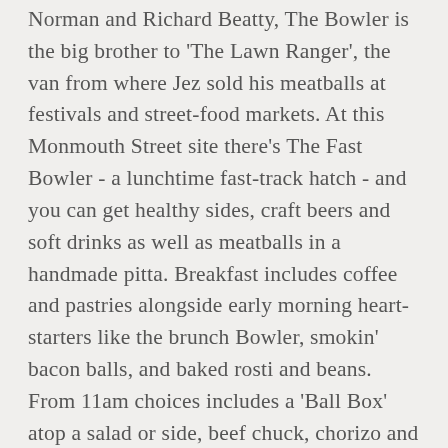Norman and Richard Beatty, The Bowler is the big brother to 'The Lawn Ranger', the van from where Jez sold his meatballs at festivals and street-food markets. At this Monmouth Street site there's The Fast Bowler - a lunchtime fast-track hatch - and you can get healthy sides, craft beers and soft drinks as well as meatballs in a handmade pitta. Breakfast includes coffee and pastries alongside early morning heart-starters like the brunch Bowler, smokin' bacon balls, and baked rosti and beans. From 11am choices includes a 'Ball Box' atop a salad or side, beef chuck, chorizo and cheddar, and there's even a vegetarian 'Balafal'. Sides and snacks list houmous and pitta, homemade slaw or Bowler salads and there are craft beers from Beavertown and The Wild Beer Company, relying on suppliers who Jez has met during his days on the streetfood scene. Interiors are made using reclaimed materials and wooden bench seating invites